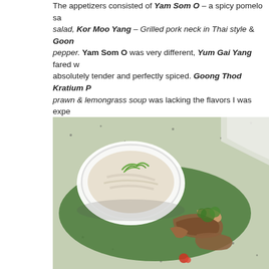The appetizers consisted of Yam Som O – a spicy pomelo salad, Kor Moo Yang – Grilled pork neck in Thai style & Goong... pepper. Yam Som O was very different, Yum Gai Yang fared w... absolutely tender and perfectly spiced. Goong Thod Kratium P... prawn & lemongrass soup was lacking the flavors I was expe... be, but it was overpowering the lemon glass flavor.
[Figure (photo): Close-up food photo showing a white bowl with a creamy salad garnished with sliced green onions on a green banana leaf, alongside pieces of grilled pork on a speckled ceramic tray.]